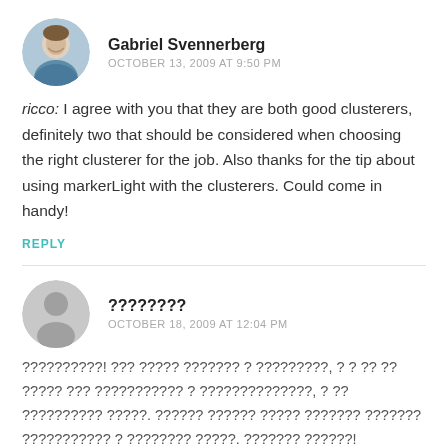[Figure (photo): Round avatar photo of Gabriel Svennerberg, a smiling young man]
Gabriel Svennerberg
OCTOBER 13, 2009 AT 9:50 PM
ricco: I agree with you that they are both good clusterers, definitely two that should be considered when choosing the right clusterer for the job. Also thanks for the tip about using markerLight with the clusterers. Could come in handy!
REPLY
[Figure (illustration): Generic grey silhouette avatar placeholder]
????????
OCTOBER 18, 2009 AT 12:04 PM
??????????! ??? ????? ??????? ? ?????????, ? ? ?? ?? ????? ??? ??????????? ? ??????????????, ? ?? ?????????? ?????. ?????? ?????? ????? ??????? ??????? ??????????? ? ???????? ?????. ??????? ??????!
REPLY